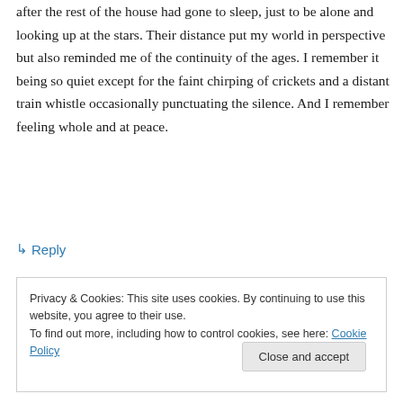after the rest of the house had gone to sleep, just to be alone and looking up at the stars. Their distance put my world in perspective but also reminded me of the continuity of the ages. I remember it being so quiet except for the faint chirping of crickets and a distant train whistle occasionally punctuating the silence. And I remember feeling whole and at peace.
↳ Reply
Privacy & Cookies: This site uses cookies. By continuing to use this website, you agree to their use.
To find out more, including how to control cookies, see here: Cookie Policy